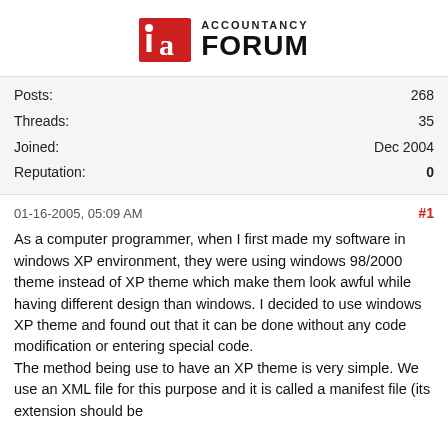[Figure (logo): Accountancy Forum logo with red stylized 'a' icon and bold black text reading ACCOUNTANCY FORUM]
| Posts: | 268 |
| Threads: | 35 |
| Joined: | Dec 2004 |
| Reputation: | 0 |
01-16-2005, 05:09 AM
#1
As a computer programmer, when I first made my software in windows XP environment, they were using windows 98/2000 theme instead of XP theme which make them look awful while having different design than windows. I decided to use windows XP theme and found out that it can be done without any code modification or entering special code.
The method being use to have an XP theme is very simple. We use an XML file for this purpose and it is called a manifest file (its extension should be